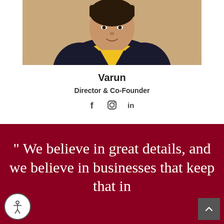[Figure (photo): Portrait photo of Varun wearing a yellow shirt and dark jacket, shown from the torso up against a warm background]
Varun
Director & Co-Founder
[Figure (infographic): Social media icons: Facebook (f), Instagram (camera), LinkedIn (in)]
" We believe in great details, and we believe in businesses that keep that in mind"